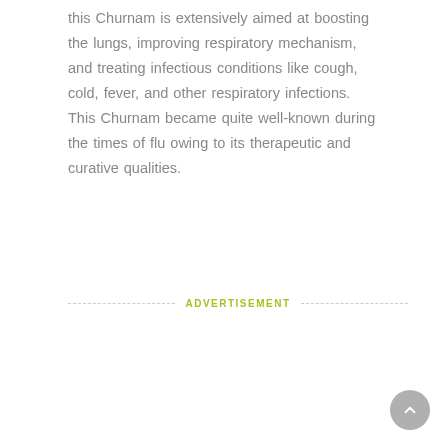this Churnam is extensively aimed at boosting the lungs, improving respiratory mechanism, and treating infectious conditions like cough, cold, fever, and other respiratory infections. This Churnam became quite well-known during the times of flu owing to its therapeutic and curative qualities.
ADVERTISEMENT